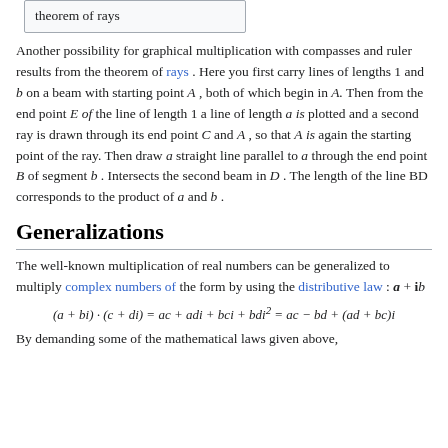theorem of rays
Another possibility for graphical multiplication with compasses and ruler results from the theorem of rays . Here you first carry lines of lengths 1 and b on a beam with starting point A , both of which begin in A. Then from the end point E of the line of length 1 a line of length a is plotted and a second ray is drawn through its end point C and A , so that A is again the starting point of the ray. Then draw a straight line parallel to a through the end point B of segment b . Intersects the second beam in D . The length of the line BD corresponds to the product of a and b .
Generalizations
The well-known multiplication of real numbers can be generalized to multiply complex numbers of the form by using the distributive law : a + ib
By demanding some of the mathematical laws given above,